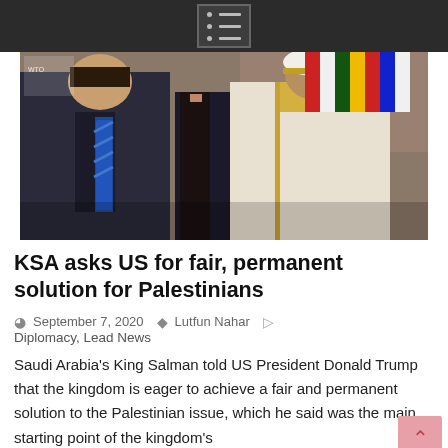menu icon / navigation header
[Figure (photo): Photo of two men at an event — a man in a dark suit with a blue striped tie on the left, and a man in traditional white Saudi Arabian dress with gold trim on the right, with other people and flags visible in the background. Appears to be a formal diplomatic meeting.]
KSA asks US for fair, permanent solution for Palestinians
September 7, 2020   Lutfun Nahar
Diplomacy, Lead News
Saudi Arabia's King Salman told US President Donald Trump that the kingdom is eager to achieve a fair and permanent solution to the Palestinian issue, which he said was the main starting point of the kingdom's … Arab Peace Initiative.